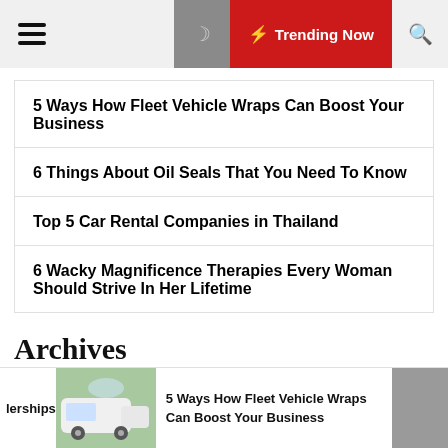Trending Now
5 Ways How Fleet Vehicle Wraps Can Boost Your Business
6 Things About Oil Seals That You Need To Know
Top 5 Car Rental Companies in Thailand
6 Wacky Magnificence Therapies Every Woman Should Strive In Her Lifetime
Archives
June 2022
lerships  5 Ways How Fleet Vehicle Wraps Can Boost Your Business